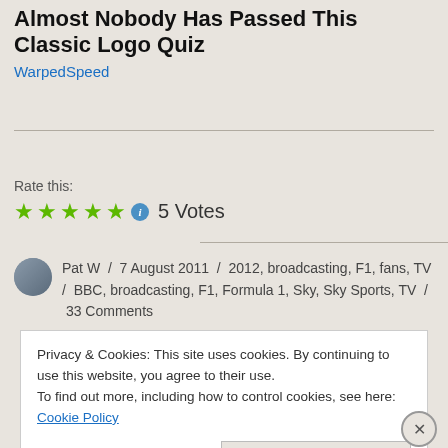Almost Nobody Has Passed This Classic Logo Quiz
WarpedSpeed
Rate this:
5 Votes
Pat W / 7 August 2011 / 2012, broadcasting, F1, fans, TV / BBC, broadcasting, F1, Formula 1, Sky, Sky Sports, TV / 33 Comments
Privacy & Cookies: This site uses cookies. By continuing to use this website, you agree to their use.
To find out more, including how to control cookies, see here: Cookie Policy
Close and accept